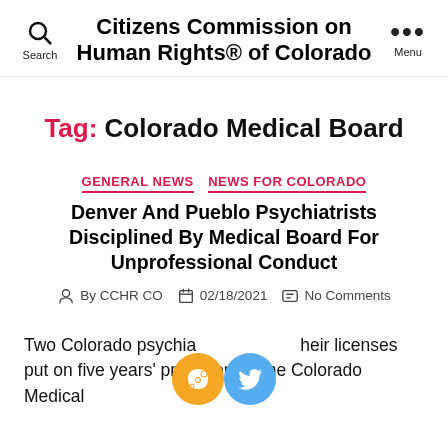Citizens Commission on Human Rights® of Colorado
Tag: Colorado Medical Board
GENERAL NEWS  NEWS FOR COLORADO
Denver And Pueblo Psychiatrists Disciplined By Medical Board For Unprofessional Conduct
By CCHR CO  02/18/2021  No Comments
Two Colorado psychiatrists had their licenses put on five years' probation by the Colorado Medical